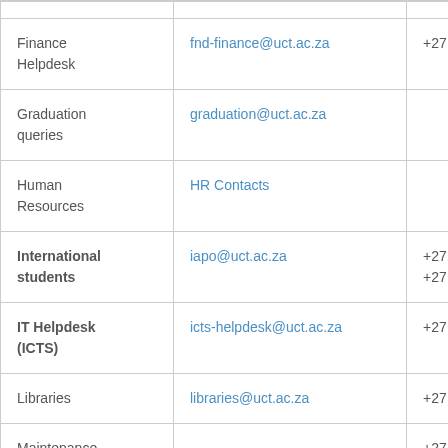| Department/Service | Email | Phone |
| --- | --- | --- |
| Finance Helpdesk | fnd-finance@uct.ac.za | +27 (0)21 |
| Graduation queries | graduation@uct.ac.za |  |
| Human Resources | HR Contacts |  |
| International students | iapo@uct.ac.za | +27 21 65
+27 (0)21 6 |
| IT Helpdesk (ICTS) | icts-helpdesk@uct.ac.za | +27 (0)21 |
| Libraries | libraries@uct.ac.za | +27 (0)21 |
| Maintenance |  | +27 (0)21 |